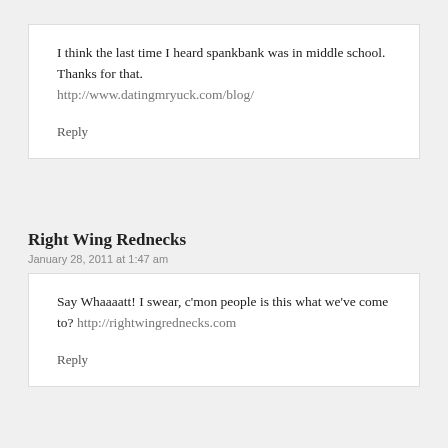I think the last time I heard spankbank was in middle school. Thanks for that. http://www.datingmryuck.com/blog/
Reply
Right Wing Rednecks
January 28, 2011 at 1:47 am
Say Whaaaatt! I swear, c'mon people is this what we've come to? http://rightwingrednecks.com
Reply